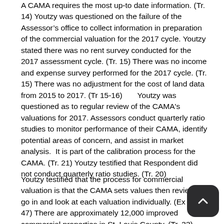A CAMA requires the most up-to date information. (Tr. 14) Youtzy was questioned on the failure of the Assessor's office to collect information in preparation of the commercial valuation for the 2017 cycle. Youtzy stated there was no rent survey conducted for the 2017 assessment cycle. (Tr. 15) There was no income and expense survey performed for the 2017 cycle. (Tr. 15) There was no adjustment for the cost of land data from 2015 to 2017. (Tr 15-16)      Youtzy was questioned as to regular review of the CAMA's valuations for 2017. Assessors conduct quarterly ratio studies to monitor performance of their CAMA, identify potential areas of concern, and assist in market analysis.  It is part of the calibration process for the CAMA. (Tr. 21) Youtzy testified that Respondent did not conduct quarterly ratio studies. (Tr. 20)
Youtzy testified that the process for commercial valuation is that the CAMA sets values then reviewers go in and look at each valuation individually. (Ex G p. 47) There are approximately 12,000 improved commercial properties in St. Louis County. (Tr. 33) Review appraisers were allowed to go into the IAS on